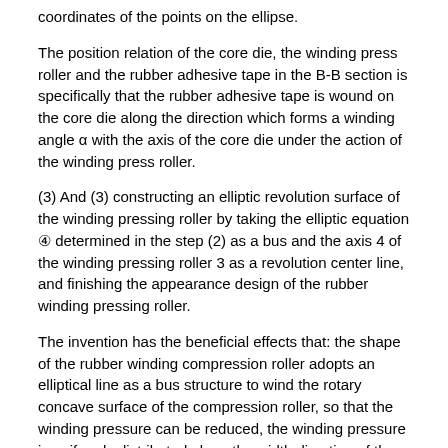coordinates of the points on the ellipse.
The position relation of the core die, the winding press roller and the rubber adhesive tape in the B-B section is specifically that the rubber adhesive tape is wound on the core die along the direction which forms a winding angle α with the axis of the core die under the action of the winding press roller.
(3) And (3) constructing an elliptic revolution surface of the winding pressing roller by taking the elliptic equation ④ determined in the step (2) as a bus and the axis 4 of the winding pressing roller 3 as a revolution center line, and finishing the appearance design of the rubber winding pressing roller.
The invention has the beneficial effects that: the shape of the rubber winding compression roller adopts an elliptical line as a bus structure to wind the rotary concave surface of the compression roller, so that the winding pressure can be reduced, the winding pressure is uniformly distributed along the width direction of the adhesive tape, the winding pressure and the winding quality of the edge of the adhesive tape are improved, and the phenomenon of edge